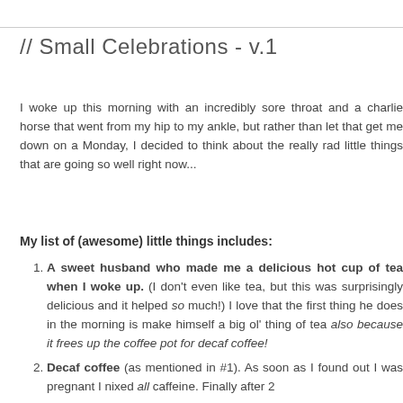// Small Celebrations - v.1
I woke up this morning with an incredibly sore throat and a charlie horse that went from my hip to my ankle, but rather than let that get me down on a Monday, I decided to think about the really rad little things that are going so well right now...
My list of (awesome) little things includes:
A sweet husband who made me a delicious hot cup of tea when I woke up. (I don't even like tea, but this was surprisingly delicious and it helped so much!) I love that the first thing he does in the morning is make himself a big ol' thing of tea also because it frees up the coffee pot for decaf coffee!
Decaf coffee (as mentioned in #1). As soon as I found out I was pregnant I nixed all caffeine. Finally after 2